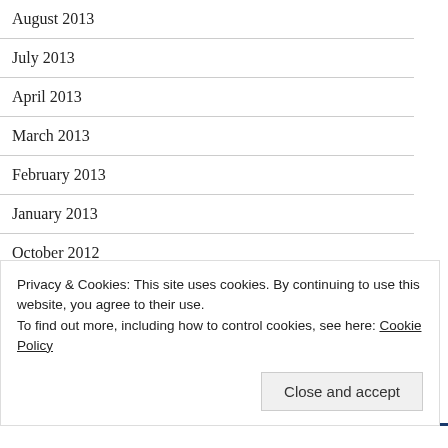August 2013
July 2013
April 2013
March 2013
February 2013
January 2013
October 2012
August 2012
July 2012
March 2012
February 2012
Privacy & Cookies: This site uses cookies. By continuing to use this website, you agree to their use.
To find out more, including how to control cookies, see here: Cookie Policy
Close and accept